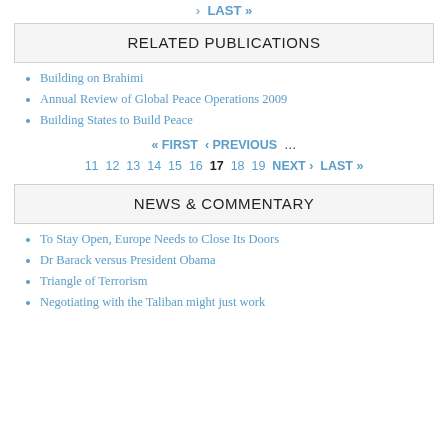› LAST »
RELATED PUBLICATIONS
Building on Brahimi
Annual Review of Global Peace Operations 2009
Building States to Build Peace
« FIRST ‹ PREVIOUS … 11 12 13 14 15 16 17 18 19 NEXT › LAST »
NEWS & COMMENTARY
To Stay Open, Europe Needs to Close Its Doors
Dr Barack versus President Obama
Triangle of Terrorism
Negotiating with the Taliban might just work